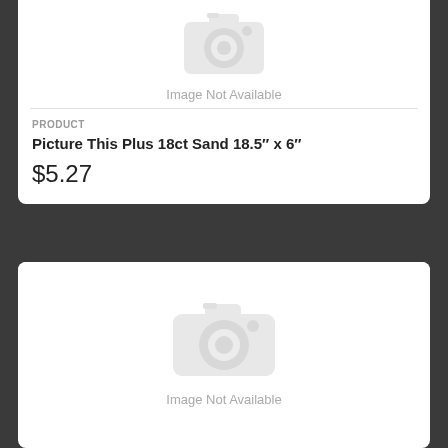[Figure (photo): Image Not Available placeholder with camera icon (top card, partially visible at top)]
Image Not Available
PRODUCT
Picture This Plus 18ct Sand 18.5" x 6"
$5.27
[Figure (photo): Image Not Available placeholder with camera icon (bottom card)]
Image Not Available